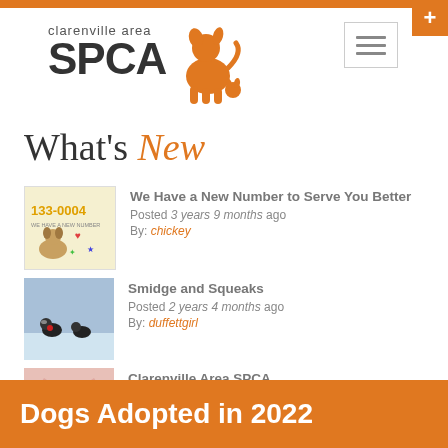[Figure (logo): Clarenville Area SPCA logo with animal silhouette in orange]
What's New
[Figure (photo): Thumbnail image showing phone number 133-0004 with cartoon dogs]
We Have a New Number to Serve You Better
Posted 3 years 9 months ago
By: chickey
[Figure (photo): Thumbnail of two small birds on a snowy surface]
Smidge and Squeaks
Posted 2 years 4 months ago
By: duffettgirl
[Figure (photo): Thumbnail of a pink t-shirt with SPCA logo]
Clarenville Area SPCA
Posted 5 years 2 months ago
By: Anonymous (not verified)
Dogs Adopted in 2022